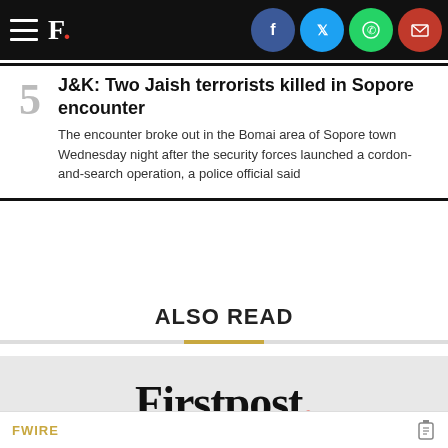Firstpost. [navigation bar with social share icons]
5. J&K: Two Jaish terrorists killed in Sopore encounter — The encounter broke out in the Bomai area of Sopore town Wednesday night after the security forces launched a cordon-and-search operation, a police official said
ALSO READ
[Figure (logo): Firstpost logo — large black serif wordmark with red period]
FWIRE